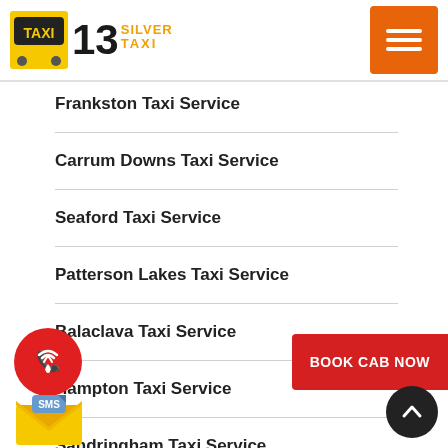13 Silver Taxi
Frankston Taxi Service
Carrum Downs Taxi Service
Seaford Taxi Service
Patterson Lakes Taxi Service
Balaclava Taxi Service
Hampton Taxi Service
Sandringham Taxi Service
Ormond Taxi Service